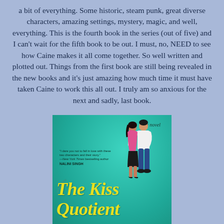a bit of everything. Some historic, steam punk, great diverse characters, amazing settings, mystery, magic, and well, everything. This is the fourth book in the series (out of five) and I can't wait for the fifth book to be out. I must, no, NEED to see how Caine makes it all come together. So well written and plotted out. Things from the first book are still being revealed in the new books and it's just amazing how much time it must have taken Caine to work this all out. I truly am so anxious for the next and sadly, last book.
[Figure (illustration): Book cover of 'The Kiss Quotient' — a teal/turquoise background showing a man and woman in an embrace/kiss at the top right, with a blurb quote from Nalini Singh at mid-left, the text 'a novel' in cursive top right, and the title 'The Kiss Quotient' in large yellow handwritten-style text across the bottom, partially cut off.]